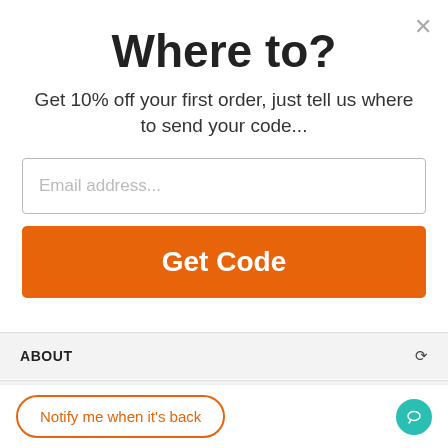Where to?
Get 10% off your first order, just tell us where to send your code...
Email address...
Get Code
ABOUT
TRUSTED BY
Notify me when it's back